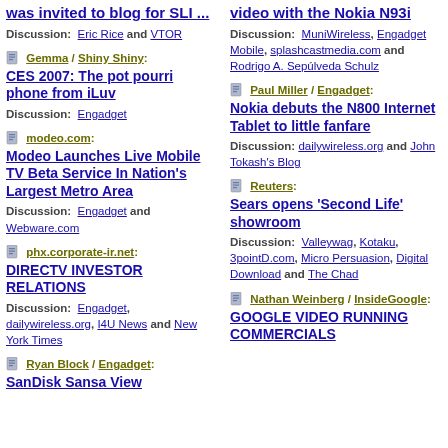was invited to blog for SLI ... Discussion: Eric Rice and VTOR
Gemma / Shiny Shiny: CES 2007: The pot pourri phone from iLuv Discussion: Engadget
modeo.com: Modeo Launches Live Mobile TV Beta Service In Nation's Largest Metro Area Discussion: Engadget and Webware.com
phx.corporate-ir.net: DIRECTV INVESTOR RELATIONS Discussion: Engadget, dailywireless.org, I4U News and New York Times
Ryan Block / Engadget: SanDisk Sansa View
video with the Nokia N93i Discussion: MuniWireless, Engadget Mobile, splashcastmedia.com and Rodrigo A. Sepúlveda Schulz
Paul Miller / Engadget: Nokia debuts the N800 Internet Tablet to little fanfare Discussion: dailywireless.org and John Tokash's Blog
Reuters: Sears opens 'Second Life' showroom Discussion: Valleywag, Kotaku, 3pointD.com, Micro Persuasion, Digital Download and The Chad
Nathan Weinberg / InsideGoogle: GOOGLE VIDEO RUNNING COMMERCIALS